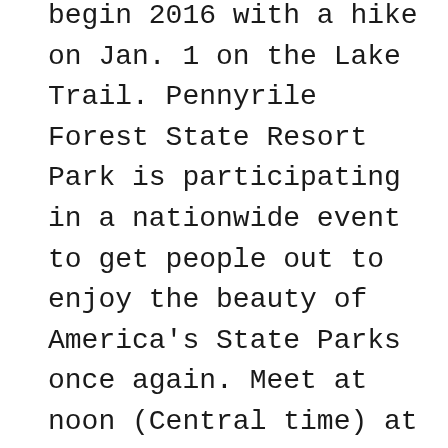begin 2016 with a hike on Jan. 1 on the Lake Trail. Pennyrile Forest State Resort Park is participating in a nationwide event to get people out to enjoy the beauty of America's State Parks once again. Meet at noon (Central time) at the park lodge lobby. For children 5 and older. Wear appropriate clothing, shoes, snacks and water. Dogs are allowed if on a leash. This hike will cover 3.25 miles. For more information, call 800-325-1711.
Pine Mountain State Resort Park, Pineville
First Day Hike